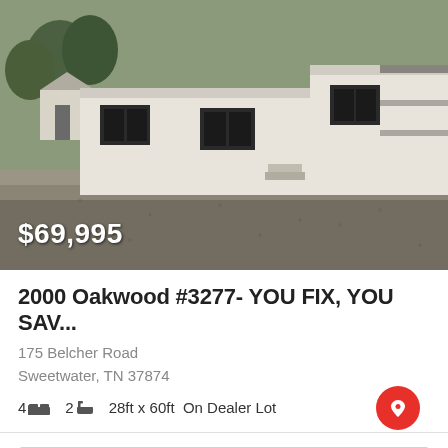[Figure (photo): Exterior photo of a white mobile/manufactured home on gravel lot with trees in background. Price overlay '$69,995' in white text at bottom left.]
2000 Oakwood #3277- YOU FIX, YOU SAV...
175 Belcher Road
Sweetwater, TN 37874
4 [bed icon] 2 [bath icon] 28ft x 60ft  On Dealer Lot
Featured